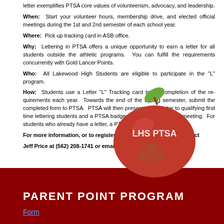letter exemplifies PTSA core values of volunteerism, advocacy, and leadership.
When: Start your volunteer hours, membership drive, and elected official meetings during the 1st and 2nd semester of each school year.
Where: Pick up tracking card in ASB office.
Why: Lettering in PTSA offers a unique opportunity to earn a letter for all students outside the athletic programs. You can fulfill the requirements concurrently with Gold Lancer Points.
Who: All Lakewood High Students are eligible to participate in the "L" program.
How: Students use a Letter "L" Tracking card to list completion of the requirements each year. Towards the end of the Spring semester, submit the completed form to PTSA. PTSA will then present an "L" letter to qualifying first time lettering students and a PTSA badge at the year end PTSA meeting. For students who already have a letter, a PTSA badge will be awarded.
[Figure (illustration): LHS PTSA logo: red apple with gold lancers mascot and green leaf, with white text 'LHS PTSA']
For more information, or to register for the program, please contact Jeff Price at (562) 208-1741 or email at jprice@capta.org.
PARENT POINT PROGRAM
Form